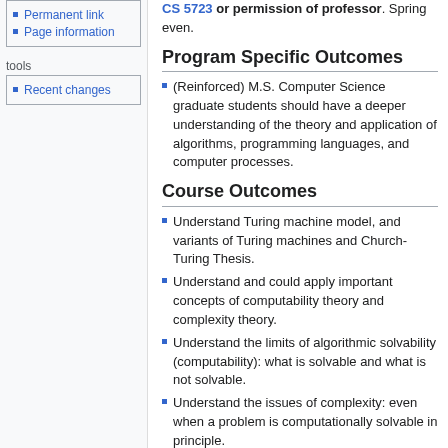Permanent link
Page information
tools
Recent changes
CS 5723 or permission of professor. Spring even.
Program Specific Outcomes
(Reinforced) M.S. Computer Science graduate students should have a deeper understanding of the theory and application of algorithms, programming languages, and computer processes.
Course Outcomes
Understand Turing machine model, and variants of Turing machines and Church-Turing Thesis.
Understand and could apply important concepts of computability theory and complexity theory.
Understand the limits of algorithmic solvability (computability): what is solvable and what is not solvable.
Understand the issues of complexity: even when a problem is computationally solvable in principle.